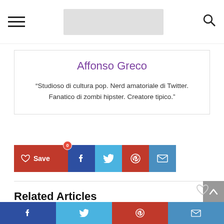Navigation header with hamburger menu, logo placeholder, and search icon
Affonso Greco
“Studioso di cultura pop. Nerd amatoriale di Twitter. Fanatico di zombi hipster. Creatore tipico.”
[Figure (infographic): Social share buttons row: Save (red), Facebook (dark blue), Twitter (light blue), Pinterest (red), Email (steel blue)]
Related Articles
[Figure (infographic): Bottom social sharing bar with Facebook, Twitter, Pinterest, and Email icons]